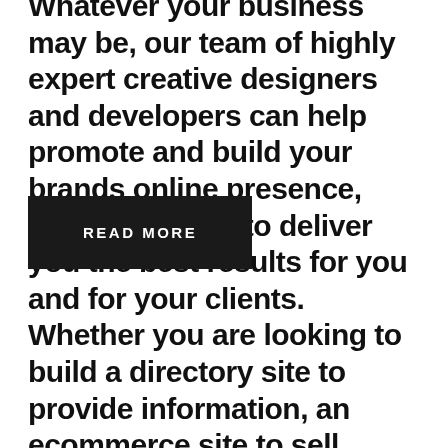Whatever your business may be, our team of highly expert creative designers and developers can help promote and build your brands online presence, which can help to deliver you the best results for you and for your clients. Whether you are looking to build a directory site to provide information, an ecommerce site to sell...
READ MORE